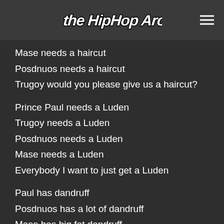The Hip Hop Archive
Mase needs a haircut
Posdnuos needs a haircut
Trugoy would you please give us a haircut?
Prince Paul needs a Luden
Trugoy needs a Luden
Posdnuos needs a Luden
Mase needs a Luden
Everybody I want to just get a Luden
Paul has dandruff
Posdnuos has a lot of dandruff
Mase has big fat dandruff
Trugoy has dandruff